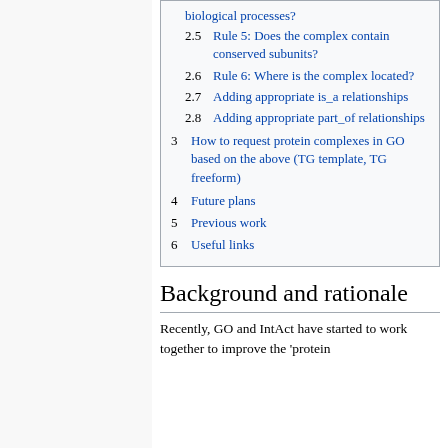2.5 Rule 5: Does the complex contain conserved subunits?
2.6 Rule 6: Where is the complex located?
2.7 Adding appropriate is_a relationships
2.8 Adding appropriate part_of relationships
3 How to request protein complexes in GO based on the above (TG template, TG freeform)
4 Future plans
5 Previous work
6 Useful links
Background and rationale
Recently, GO and IntAct have started to work together to improve the 'protein